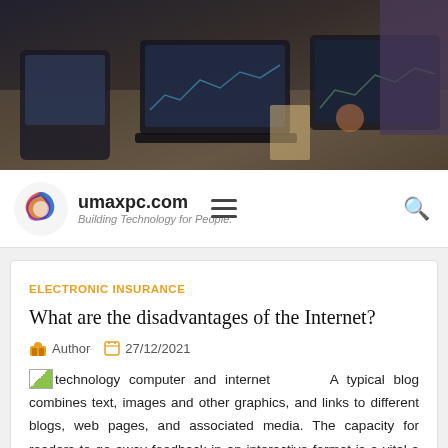[Figure (photo): People working around a conference table with laptops showing charts and graphs]
umaxpc.com
Building Technology for People.
ELECTRONIC INSURANCE
What are the disadvantages of the Internet?
Author  27/12/2021
technology computer and internet   A typical blog combines text, images and other graphics, and links to different blogs, web pages, and associated media. The capacity for readers to go away feedback in an interactive format is a vital a part of many blogs. Most blogs are